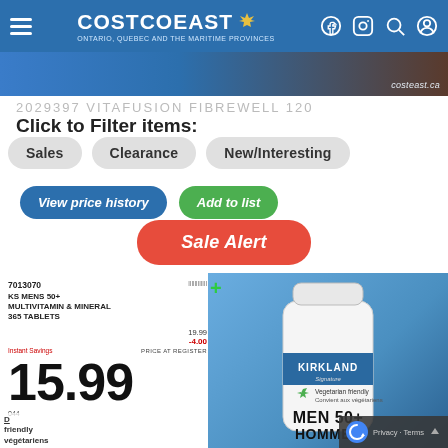Costco East — Ontario, Quebec and the Maritime Provinces
[Figure (screenshot): Top banner image strip showing partial product photo with costeast.ca URL]
2029397 VITAFUSION FIBREWELL 120
Click to Filter items:
Sales
Clearance
New/Interesting
View price history
Add to list
Sale Alert
[Figure (photo): Photo of Kirkland Signature Men 50+ Multivitamin & Mineral 365 Tablets product at Costco shelf with price tag showing 15.99 (originally 19.99, -4.00 discount). Item number 7013070.]